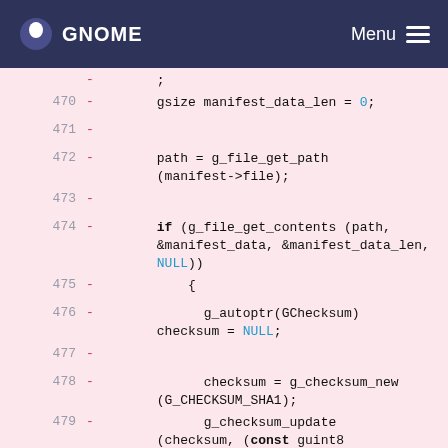GNOME  Menu
Code diff showing lines 470-481 of a C source file with removed lines (marked with -). Lines include gsize manifest_data_len = 0; path = g_file_get_path(manifest->file); if (g_file_get_contents(path, &manifest_data, &manifest_data_len, NULL)) { g_autoptr(GChecksum) checksum = NULL; checksum = g_checksum_new(G_CHECKSUM_SHA1); g_checksum_update(checksum, (const guint8 *)manifest_data, manifest_data_len); hash = g_strdup(g_checksum_get_string(checksum)); }